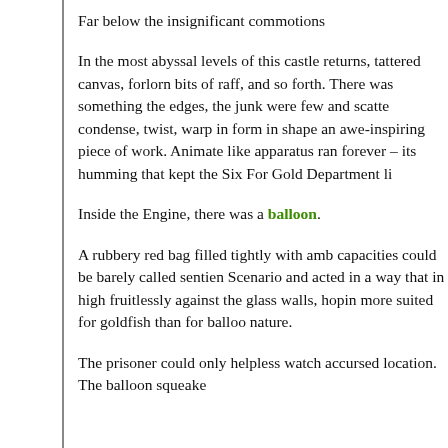Far below the insignificant commotions
In the most abyssal levels of this castle returns, tattered canvas, forlorn bits of raff, and so forth. There was something the edges, the junk were few and scatter condense, twist, warp in form in shape an awe-inspiring piece of work. Animate like apparatus ran forever – its humming that kept the Six For Gold Department li
Inside the Engine, there was a balloon.
A rubbery red bag filled tightly with amb capacities could be barely called sentien Scenario and acted in a way that in high fruitlessly against the glass walls, hopin more suited for goldfish than for balloo nature.
The prisoner could only helpless watch accursed location. The balloon squeake